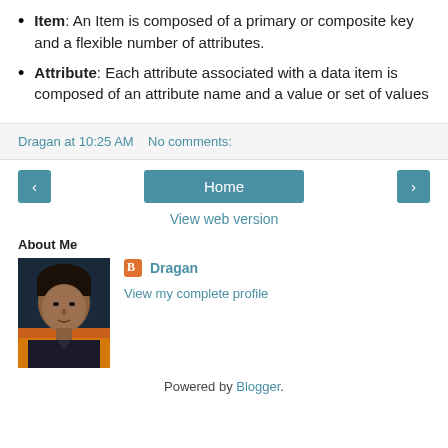Item: An Item is composed of a primary or composite key and a flexible number of attributes.
Attribute: Each attribute associated with a data item is composed of an attribute name and a value or set of values
Dragan at 10:25 AM   No comments:
[Figure (other): Navigation buttons: left arrow, Home, right arrow, and View web version link]
About Me
[Figure (photo): Profile photo of Dragan - a man with dark hair against an orange/sunset background]
Dragan
View my complete profile
Powered by Blogger.